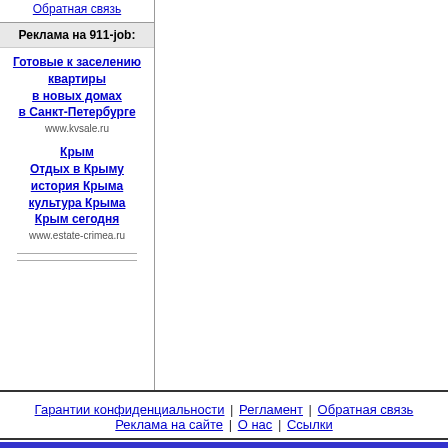Обратная связь
Реклама на 911-job:
Готовые к заселению квартиры
в новых домах
в Санкт-Петербурге
www.kvsale.ru
Крым
Отдых в Крыму
история Крыма
культура Крыма
Крым сегодня
www.estate-crimea.ru
Гарантии конфиденциальности | Регламент | Обратная связь | Реклама на сайте | О нас | Ссылки